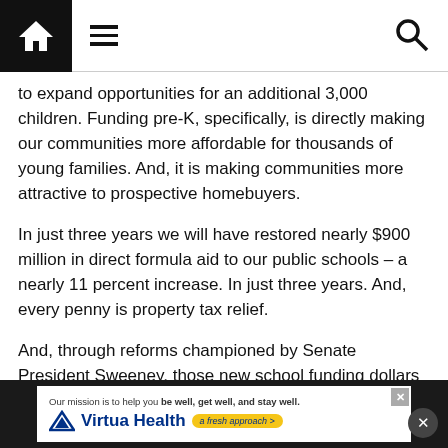Navigation bar with home, menu, and search icons
to expand opportunities for an additional 3,000 children. Funding pre-K, specifically, is directly making our communities more affordable for thousands of young families. And, it is making communities more attractive to prospective homebuyers.
In just three years we will have restored nearly $900 million in direct formula aid to our public schools – a nearly 11 percent increase. In just three years. And, every penny is property tax relief.
And, through reforms championed by Senate President Sweeney, those new school funding dollars are working more efficiently and effectively.
Our schools benefit, and our property homeowners benefit
[Figure (infographic): Virtua Health advertisement banner: 'Our mission is to help you be well, get well, and stay well.' with Virtua Health logo and 'a fresh approach >' tagline in yellow pill shape]